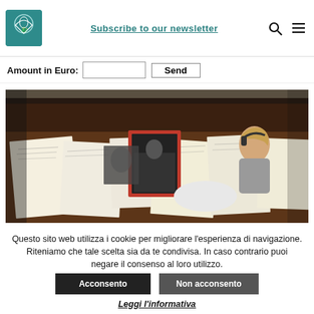Subscribe to our newsletter
Amount in Euro:   [input]   Send
[Figure (photo): A woman wearing white gloves examines documents/manuscripts spread out on a table under display lighting; a framed photograph is visible among the papers.]
Questo sito web utilizza i cookie per migliorare l'esperienza di navigazione. Riteniamo che tale scelta sia da te condivisa. In caso contrario puoi negare il consenso al loro utilizzo.
Acconsento   Non acconsento
Leggi l'informativa